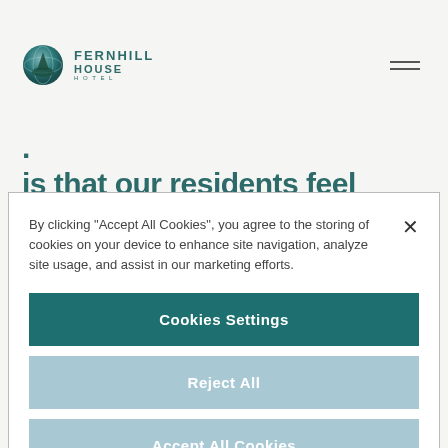[Figure (logo): Fernhill House logo with teal circle/globe graphic and text FERNHILL HOUSE]
is that our residents feel good. By feeling good they get on with their lives all whilst feeling content. Everything that we have to offer, from
By clicking “Accept All Cookies”, you agree to the storing of cookies on your device to enhance site navigation, analyze site usage, and assist in our marketing efforts.
Cookies Settings
Reject All
Accept All Cookies